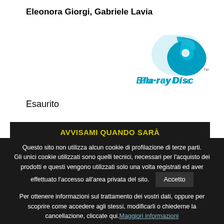Eleonora Giorgi, Gabriele Lavia
[Figure (logo): Blu-ray Disc logo with blue swirl icon and 'Blu-ray Disc' text in blue]
Esaurito
AVVISAMI QUANDO SARÀ
Questo sito non utilizza alcun cookie di profilazione di terze parti. Gli unici cookie utilizzati sono quelli tecnici, necessari per l'acquisto dei prodotti e questi vengono utilizzati solo una volta registrati ed aver effettuato l'accesso all'area privata del sito. Accetto
Per ottenere informazioni sul trattamento dei vostri dati, oppure per scoprire come accedere agli stessi, modificarli o chiederne la cancellazione, cliccate qui. Maggiori informazioni